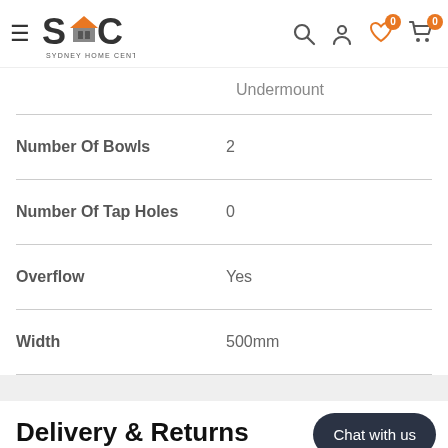[Figure (logo): Sydney Home Centre logo with SHC initials and orange house roof icon]
| Attribute | Value |
| --- | --- |
|  | Undermount |
| Number Of Bowls | 2 |
| Number Of Tap Holes | 0 |
| Overflow | Yes |
| Width | 500mm |
Delivery & Returns
*** This item is an order-only item ***